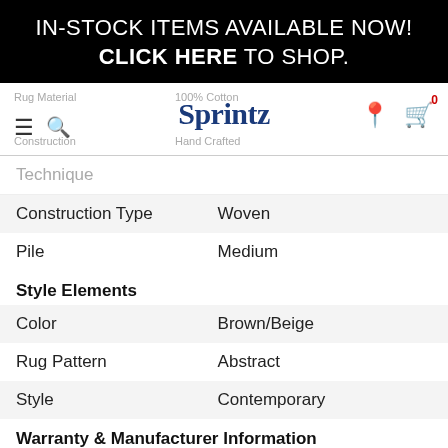IN-STOCK ITEMS AVAILABLE NOW! CLICK HERE TO SHOP.
[Figure (logo): Sprintz furniture store logo with navigation bar including hamburger menu, search icon, location pin, and cart icon. Background text showing Rug Material, 100% Cotton, Construction, Hand Crafted.]
| Construction Type | Woven |
| Pile | Medium |
Style Elements
| Color | Brown/Beige |
| Rug Pattern | Abstract |
| Style | Contemporary |
Warranty & Manufacturer Information
| Origin | Imported |
Construction & Materials